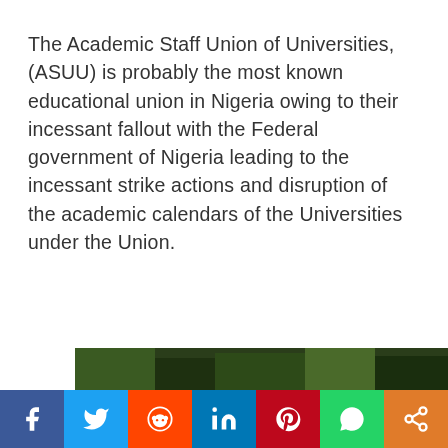The Academic Staff Union of Universities, (ASUU) is probably the most known educational union in Nigeria owing to their incessant fallout with the Federal government of Nigeria leading to the incessant strike actions and disruption of the academic calendars of the Universities under the Union.
[Figure (photo): Partial photo visible at bottom of page, appears to show outdoor/nature scene with dark green foliage]
Social sharing bar: Facebook, Twitter, Reddit, LinkedIn, Pinterest, WhatsApp, Share